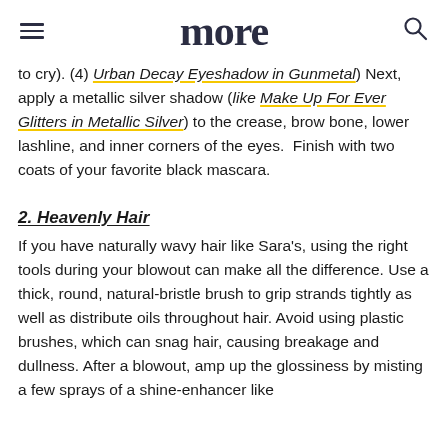more
to cry). (4) Urban Decay Eyeshadow in Gunmetal) Next, apply a metallic silver shadow (like Make Up For Ever Glitters in Metallic Silver) to the crease, brow bone, lower lashline, and inner corners of the eyes.  Finish with two coats of your favorite black mascara.
2. Heavenly Hair
If you have naturally wavy hair like Sara's, using the right tools during your blowout can make all the difference. Use a thick, round, natural-bristle brush to grip strands tightly as well as distribute oils throughout hair. Avoid using plastic brushes, which can snag hair, causing breakage and dullness. After a blowout, amp up the glossiness by misting a few sprays of a shine-enhancer like